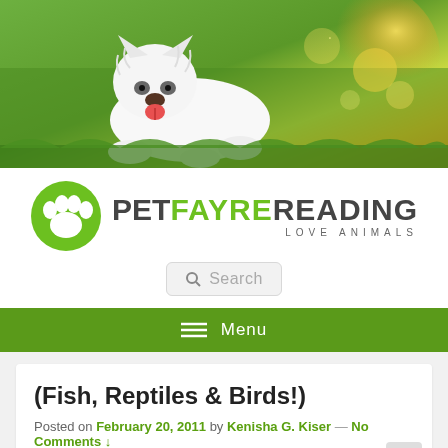[Figure (photo): White fluffy West Highland Terrier dog lying on green grass with golden sunlight bokeh in the background, serving as a hero banner image for a pet website.]
[Figure (logo): PetFayreReading logo: green circle with white paw print icon, followed by the text PETFAYREREADING in large bold letters (PET and READING in dark grey, FAYRE in green) and tagline LOVE ANIMALS below in spaced grey letters.]
[Figure (screenshot): Search bar with magnifying glass icon and placeholder text 'Search' on a light grey background with rounded corners.]
≡  Menu
(Fish, Reptiles & Birds!)
Posted on February 20, 2011 by Kenisha G. Kiser — No Comments ↓
A note on PETS because the last thing we want is for...